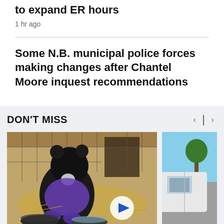to expand ER hours
1 hr ago
Some N.B. municipal police forces making changes after Chantel Moore inquest recommendations
DON'T MISS
[Figure (photo): Black bear in a cage with hay, food bowls, wearing a purple outfit; video play button overlay]
[Figure (photo): Partial image of a car outdoors near a parking lot with a tree in background]